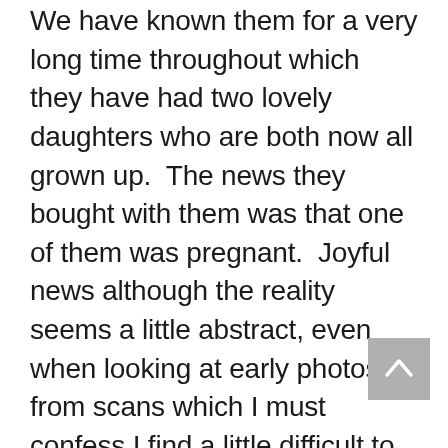We have known them for a very long time throughout which they have had two lovely daughters who are both now all grown up.  The news they bought with them was that one of them was pregnant.  Joyful news although the reality seems a little abstract, even when looking at early photos from scans which I must confess I find a little difficult to interpret!  What really bought it home was hearing a recording of the heartbeat.  This time a gentle thump, thump, thump.  Once again, I was completely caught out by how this sound, this sensory experience, had an impact on me.  It made the start of a new life very real.  Totally moving and all the more so as was not expecting to hear it recorded